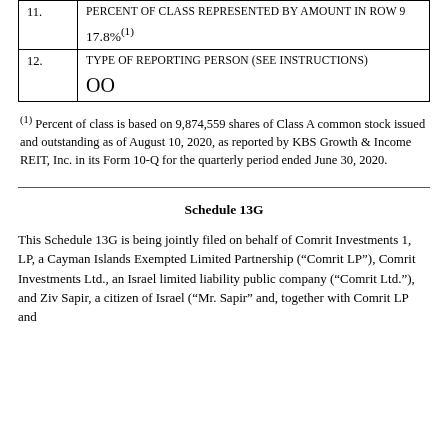| # | Field | Value |
| --- | --- | --- |
| 11. | PERCENT OF CLASS REPRESENTED BY AMOUNT IN ROW 9 | 17.8%(1) |
| 12. | TYPE OF REPORTING PERSON (SEE INSTRUCTIONS) | OO |
(1) Percent of class is based on 9,874,559 shares of Class A common stock issued and outstanding as of August 10, 2020, as reported by KBS Growth & Income REIT, Inc. in its Form 10-Q for the quarterly period ended June 30, 2020.
Schedule 13G
This Schedule 13G is being jointly filed on behalf of Comrit Investments 1, LP, a Cayman Islands Exempted Limited Partnership (“Comrit LP”), Comrit Investments Ltd., an Israel limited liability public company (“Comrit Ltd.”), and Ziv Sapir, a citizen of Israel (“Mr. Sapir” and, together with Comrit LP and